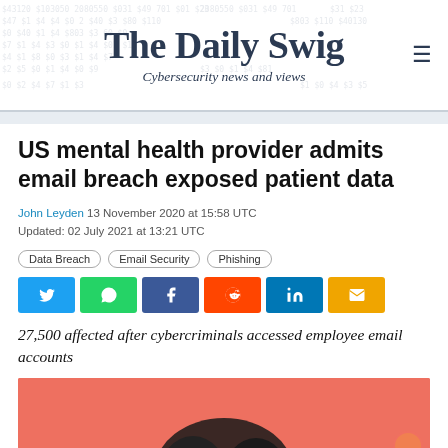The Daily Swig — Cybersecurity news and views
US mental health provider admits email breach exposed patient data
John Leyden 13 November 2020 at 15:58 UTC
Updated: 02 July 2021 at 13:21 UTC
Data Breach
Email Security
Phishing
27,500 affected after cybercriminals accessed employee email accounts
[Figure (photo): Article illustration with salmon/coral background and abstract dark silhouette figure]